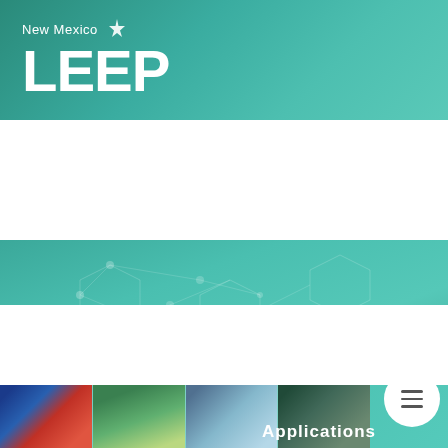[Figure (logo): New Mexico LEEP logo with star graphic on teal gradient background]
Applications Open until April 25th
[Figure (photo): Grid of scientific/research images at bottom with teal overlay showing Applications text and hamburger menu button]